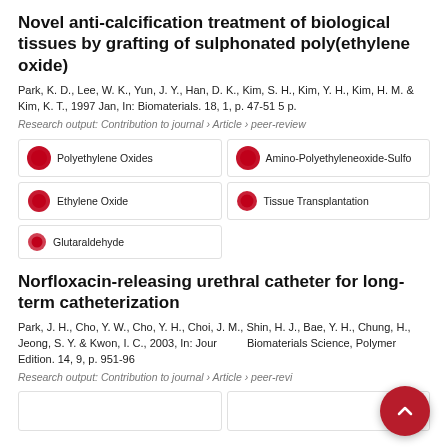Novel anti-calcification treatment of biological tissues by grafting of sulphonated poly(ethylene oxide)
Park, K. D., Lee, W. K., Yun, J. Y., Han, D. K., Kim, S. H., Kim, Y. H., Kim, H. M. & Kim, K. T., 1997 Jan, In: Biomaterials. 18, 1, p. 47-51 5 p.
Research output: Contribution to journal › Article › peer-review
Polyethylene Oxides
Amino-Polyethyleneoxide-Sulfo
Ethylene Oxide
Tissue Transplantation
Glutaraldehyde
Norfloxacin-releasing urethral catheter for long-term catheterization
Park, J. H., Cho, Y. W., Cho, Y. H., Choi, J. M., Shin, H. J., Bae, Y. H., Chung, H., Jeong, S. Y. & Kwon, I. C., 2003, In: Journal of Biomaterials Science, Polymer Edition. 14, 9, p. 951-962
Research output: Contribution to journal › Article › peer-review